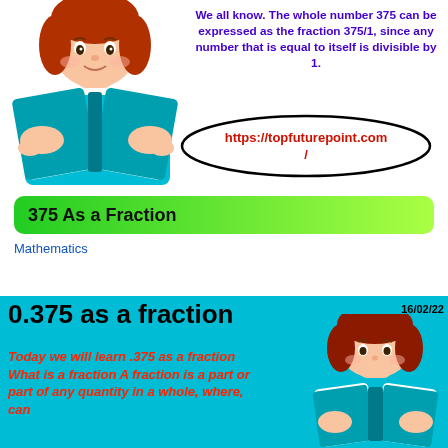[Figure (illustration): Cartoon girl with red hair reading a teal book, top-left area]
We all know. The whole number 375 can be expressed as the fraction 375/1, since any number that is equal to itself is divisible by 1.
[Figure (illustration): Oval outline containing URL text: https://topfuturepoint.com/]
375 As a Fraction
Mathematics
[Figure (infographic): Teal banner with title '0.375 as a fraction', date '16/02/22', cartoon girl reading book on right, red bold italic text: 'Today we will learn .375 as a fraction What is a fraction A fraction is a part or part of any quantity in a whole, where, can']